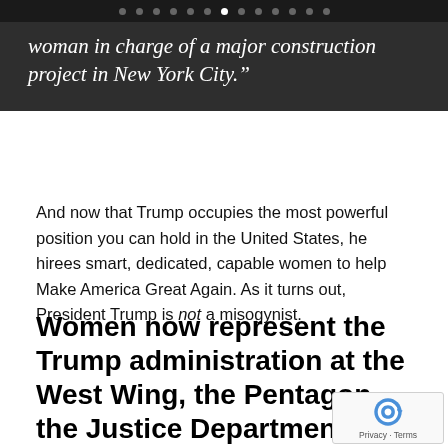• • • • • • • • • • • • •
woman in charge of a major construction project in New York City.”
And now that Trump occupies the most powerful position you can hold in the United States, he hirees smart, dedicated, capable women to help Make America Great Again. As it turns out, President Trump is not a misogynist.
Women now represent the Trump administration at the West Wing, the Pentagon, the Justice Department, and the State Department.